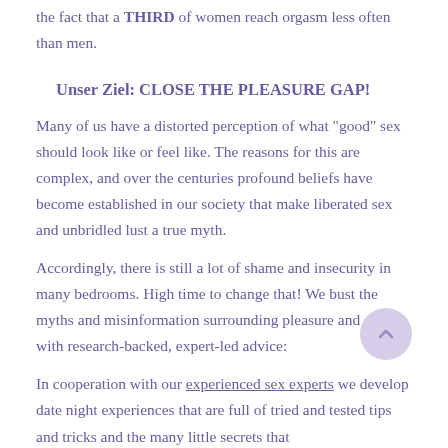the fact that a THIRD of women reach orgasm less often than men.
Unser Ziel: CLOSE THE PLEASURE GAP!
Many of us have a distorted perception of what "good" sex should look like or feel like. The reasons for this are complex, and over the centuries profound beliefs have become established in our society that make liberated sex and unbridled lust a true myth.
Accordingly, there is still a lot of shame and insecurity in many bedrooms. High time to change that! We bust the myths and misinformation surrounding pleasure and sex with research-backed, expert-led advice:
In cooperation with our experienced sex experts we develop date night experiences that are full of tried and tested tips and tricks and the many little secrets that